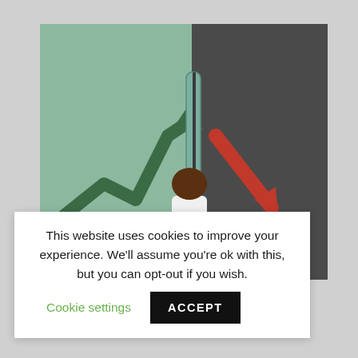[Figure (illustration): An illustration showing a person painting a wall. On the left side (mint green background), a green upward-trending arrow chart is visible. The person (seen from behind, wearing white) is using a paint roller to paint the right side dark gray, revealing a red downward arrow on the dark side.]
This website uses cookies to improve your experience. We'll assume you're ok with this, but you can opt-out if you wish. Cookie settings ACCEPT